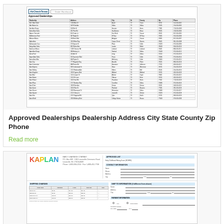[Figure (table-as-image): Scanned document showing a table of Approved Dealerships with columns: Dealership, Address, City, State, County, Zip, Phone. The document has logos at top including AbCheckTexas and another logo.]
Approved Dealerships Dealership Address City State County Zip Phone
Read more
[Figure (table-as-image): Kaplan Early Learning Company document showing a shipping charges table and an enrollment form with contact information fields. Kaplan logo in colorful letters at top left.]